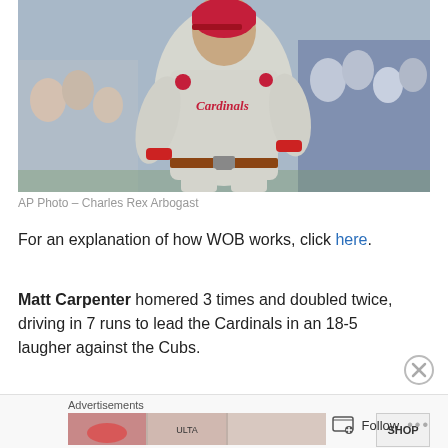[Figure (photo): St. Louis Cardinals baseball player (Matt Carpenter) in grey Cardinals uniform with red wristbands, running. Crowd visible in background.]
AP Photo – Charles Rex Arbogast
For an explanation of how WOB works, click here.
Matt Carpenter homered 3 times and doubled twice, driving in 7 runs to lead the Cardinals in an 18-5 laugher against the Cubs.
Advertisements